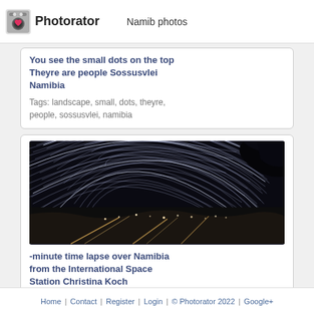Photorator — Namib photos
You see the small dots on the top Theyre are people Sossusvlei Namibia
Tags: landscape, small, dots, theyre, people, sossusvlei, namibia
[Figure (photo): Night sky star trails time lapse photo over Namibia, showing circular star trail streaks and light trails on the ground, taken from the International Space Station by Christina Koch]
-minute time lapse over Namibia from the International Space Station Christina Koch
Tags: space, -minute, time, lapse, namibia, international, station, christina, koch
Home | Contact | Register | Login | © Photorator 2022 | Google+